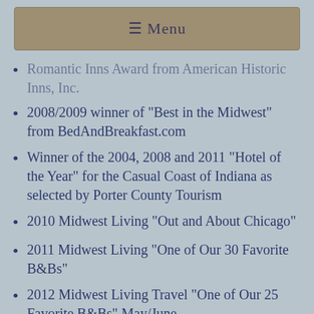≡ Menu
Romantic Inns Award from American Historic Inns, Inc.
2008/2009 winner of "Best in the Midwest" from BedAndBreakfast.com
Winner of the 2004, 2008 and 2011 "Hotel of the Year" for the Casual Coast of Indiana as selected by Porter County Tourism
2010 Midwest Living "Out and About Chicago"
2011 Midwest Living "One of Our 30 Favorite B&Bs"
2012 Midwest Living Travel "One of Our 25 Favorite B&Bs" May/June
2014 Midwest Living Travel "Indiana Dunes..."